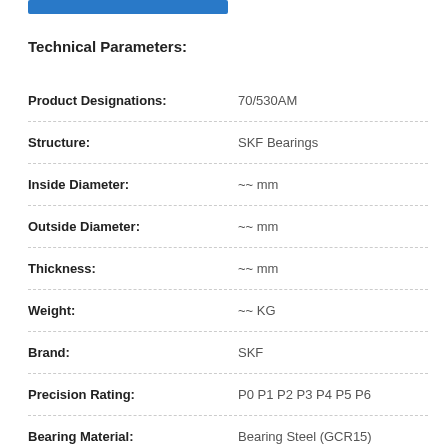[Figure (other): Blue rectangular button/bar at top of page]
Technical Parameters:
| Parameter | Value |
| --- | --- |
| Product Designations: | 70/530AM |
| Structure: | SKF Bearings |
| Inside Diameter: | ~~ mm |
| Outside Diameter: | ~~ mm |
| Thickness: | ~~ mm |
| Weight: | ~~ KG |
| Brand: | SKF |
| Precision Rating: | P0 P1 P2 P3 P4 P5 P6 |
| Bearing Material: | Bearing Steel (GCR15) |